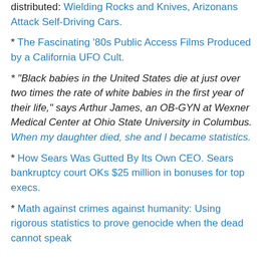distributed: Wielding Rocks and Knives, Arizonans Attack Self-Driving Cars.
* The Fascinating '80s Public Access Films Produced by a California UFO Cult.
* "Black babies in the United States die at just over two times the rate of white babies in the first year of their life," says Arthur James, an OB-GYN at Wexner Medical Center at Ohio State University in Columbus. When my daughter died, she and I became statistics.
* How Sears Was Gutted By Its Own CEO. Sears bankruptcy court OKs $25 million in bonuses for top execs.
* Math against crimes against humanity: Using rigorous statistics to prove genocide when the dead cannot speak for themselves.